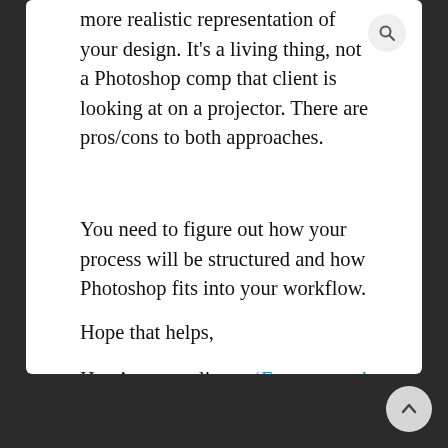more realistic representation of your design. It's a living thing, not a Photoshop comp that client is looking at on a projector. There are pros/cons to both approaches.
You need to figure out how your process will be structured and how Photoshop fits into your workflow.
Hope that helps,
Here's a great listen: 'Extreme tool anxiety' with Brad Frost and Stephen Hay